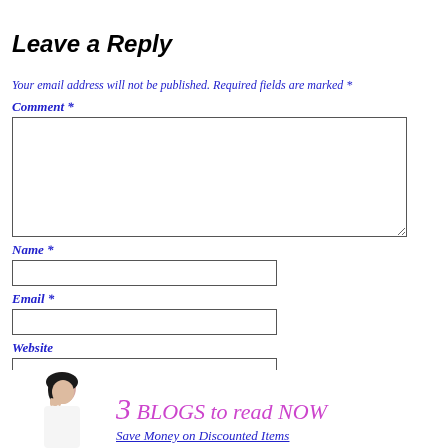Leave a Reply
Your email address will not be published. Required fields are marked *
Comment *
Name *
Email *
Website
Post Comment
< Kroger – Kroger Delta Ad Apr 6 – Apr 12 Food4Less – Apr 13 – 19 >
[Figure (illustration): Bottom banner showing a woman with hand to mouth and text '3 BLOGS to read NOW' in pink/purple, with a link 'Save Money on Discounted Items']